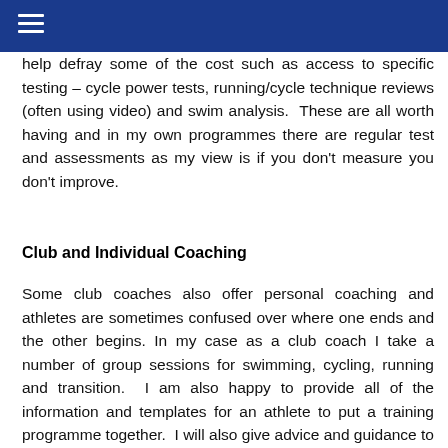help defray some of the cost such as access to specific testing – cycle power tests, running/cycle technique reviews (often using video) and swim analysis.  These are all worth having and in my own programmes there are regular test and assessments as my view is if you don't measure you don't improve.
Club and Individual Coaching
Some club coaches also offer personal coaching and athletes are sometimes confused over where one ends and the other begins. In my case as a club coach I take a number of group sessions for swimming, cycling, running and transition.  I am also happy to provide all of the information and templates for an athlete to put a training programme together.  I will also give advice and guidance to do so if asked.  However, if I manage the programme with the athlete on a regular basis then that is where I deem it to be